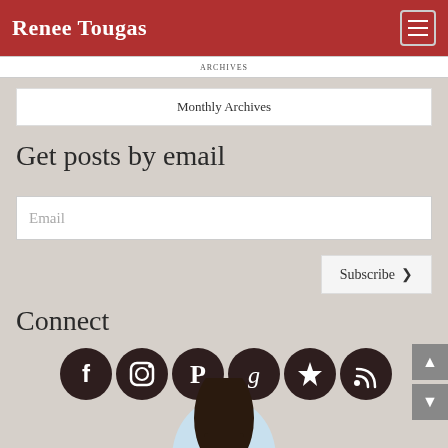Renee Tougas
Archives
Monthly Archives
Get posts by email
Email
Subscribe ❯
Connect
[Figure (illustration): Six social media icon circles in dark brown: Facebook, Instagram, Pinterest, Goodreads, Paperblanks/star icon, RSS feed]
[Figure (photo): Partial profile image of a person with dark hair at the bottom of the page]